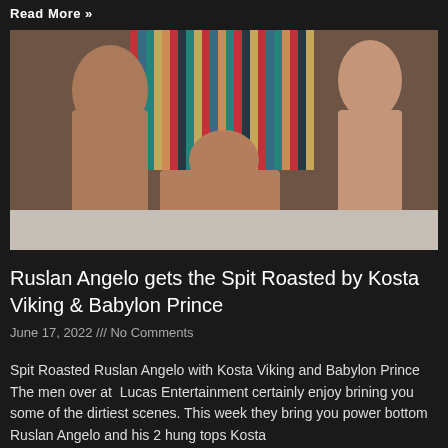Read More »
[Figure (photo): Three men in an adult scene, shot indoors with a colorful striped blanket/tapestry in the background against a brick wall.]
Ruslan Angelo gets the Spit Roasted by Kosta Viking & Babylon Prince
June 17, 2022 /// No Comments
Spit Roasted Ruslan Angelo with Kosta Viking and Babylon Prince The men over at  Lucas Entertainment certainly enjoy brining you some of the dirtiest scenes. This week they bring you power bottom Ruslan Angelo and his 2 hung tops Kosta